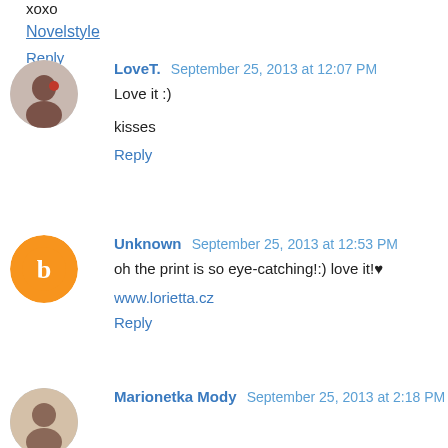xoxo
Novelstyle
Reply
LoveT.  September 25, 2013 at 12:07 PM
Love it :)
kisses
Reply
Unknown  September 25, 2013 at 12:53 PM
oh the print is so eye-catching!:) love it!♥
www.lorietta.cz
Reply
Marionetka Mody  September 25, 2013 at 2:18 PM